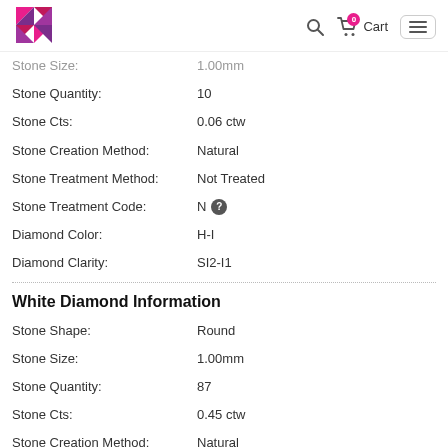Logo / Search / 0 Cart / Menu
Stone Size: 1.00mm (truncated/partial)
| Property | Value |
| --- | --- |
| Stone Quantity: | 10 |
| Stone Cts: | 0.06 ctw |
| Stone Creation Method: | Natural |
| Stone Treatment Method: | Not Treated |
| Stone Treatment Code: | N ? |
| Diamond Color: | H-I |
| Diamond Clarity: | SI2-I1 |
White Diamond Information
| Property | Value |
| --- | --- |
| Stone Shape: | Round |
| Stone Size: | 1.00mm |
| Stone Quantity: | 87 |
| Stone Cts: | 0.45 ctw |
| Stone Creation Method: | Natural |
| Stone Treatment Method: | Not Treated |
| Stone Treatment Code: | N ? |